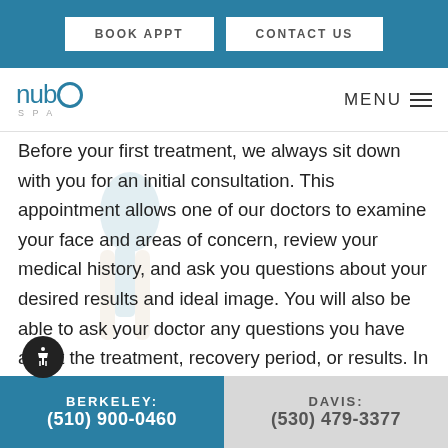BOOK APPT   CONTACT US
[Figure (logo): Nubo Spa logo with teal circular letter O and 'SPA' text below]
Before your first treatment, we always sit down with you for an initial consultation. This appointment allows one of our doctors to examine your face and areas of concern, review your medical history, and ask you questions about your desired results and ideal image. You will also be able to ask your doctor any questions you have about the treatment, recovery period, or results. In addition, your doctor can recommend a able treatment plan for your unique situation, which may include routine injections 3-5 times per
BERKELEY: (510) 900-0460   DAVIS: (530) 479-3377